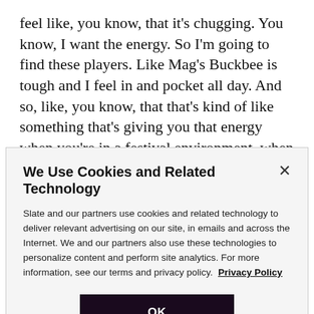feel like, you know, that it's chugging. You know, I want the energy. So I'm going to find these players. Like Mag's Buckbee is tough and I feel in and pocket all day. And so, like, you know, that that's kind of like something that's giving you that energy when you're in a festival environment, when you're doing the show and you're playing for an hour and a half and two hours or whatever you're playing, and you want everyone to gradually feel
We Use Cookies and Related Technology
Slate and our partners use cookies and related technology to deliver relevant advertising on our site, in emails and across the Internet. We and our partners also use these technologies to personalize content and perform site analytics. For more information, see our terms and privacy policy. Privacy Policy